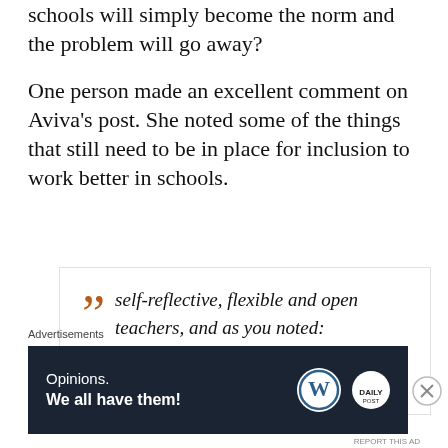schools will simply become the norm and the problem will go away?
One person made an excellent comment on Aviva's post. She noted some of the things that still need to be in place for inclusion to work better in schools.
[Figure (other): Blockquote box with orange quotation marks and italic text: 'self-reflective, flexible and open teachers, and as you noted: leadership that creatively considers class size and composition (just...']
Advertisements
[Figure (other): Advertisement banner: dark navy background with text 'Opinions. We all have them!' and WordPress and Daily Post logos]